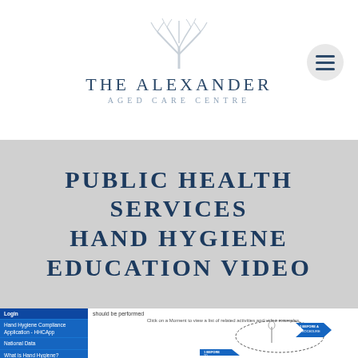[Figure (logo): The Alexander Aged Care Centre logo with stylized tree/plant graphic above the text]
PUBLIC HEALTH SERVICES HAND HYGIENE EDUCATION VIDEO
[Figure (screenshot): Screenshot of a website showing a navigation sidebar with links (Login, Hand Hygiene Compliance Application - HHCApp, National Data, What is Hand Hygiene?, Glove Use, 5 Moments for Hand) and main content area with text 'should be performed', a caption 'Click on a Moment to view a list of related activities and video examples', and a hand hygiene 5 moments diagram showing numbered arrows around hands]